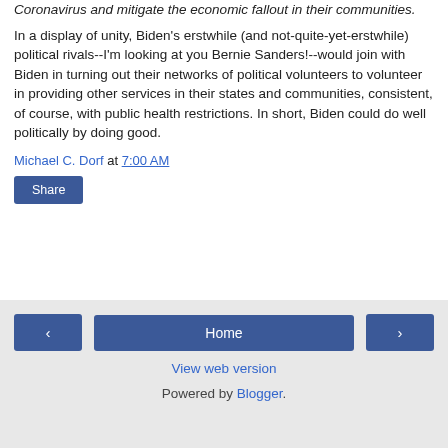Coronavirus and mitigate the economic fallout in their communities.
In a display of unity, Biden's erstwhile (and not-quite-yet-erstwhile) political rivals--I'm looking at you Bernie Sanders!--would join with Biden in turning out their networks of political volunteers to volunteer in providing other services in their states and communities, consistent, of course, with public health restrictions. In short, Biden could do well politically by doing good.
Michael C. Dorf at 7:00 AM
Share
Home | View web version | Powered by Blogger.